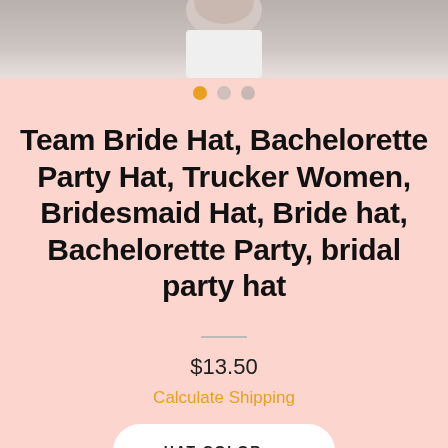[Figure (photo): Product photo showing a woman wearing a white top with dark hair, cropped to show neck/chest area against a light background]
Team Bride Hat, Bachelorette Party Hat, Trucker Women, Bridesmaid Hat, Bride hat, Bachelorette Party, bridal party hat
$13.50
Calculate Shipping
HAT COLOR